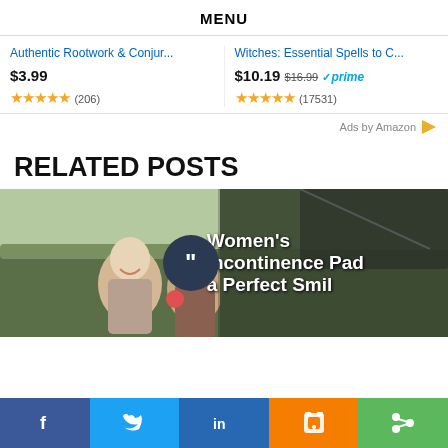MENU
Authentic Rootwork & Conjur...
$3.99
★★★★★ (206)
Witches: Essential Spells to C...
$10.19 $16.99 ✓prime
★★★★★ (17531)
Ads by Amazon
RELATED POSTS
[Figure (photo): Two elderly people smiling outdoors near a car, alongside overlay text reading Women's Incontinence Pad a Perfect Smil with a quote icon]
[Figure (infographic): Social share bar with Facebook, Twitter, LinkedIn, Blogger, and Share buttons]